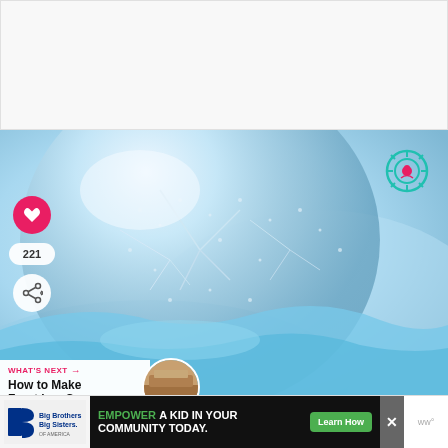[Figure (photo): White/light gray rectangle representing a blank or loading content area at the top of the page]
[Figure (photo): Close-up photograph of a soap bubble or glass sphere covered in frost/ice crystals against a light blue background, with ice/frozen liquid visible]
[Figure (other): Gear/settings icon with decorative elements in teal and red, overlaid on top-right of the main photo]
[Figure (other): Red heart/like button icon overlaid on left side of photo]
221
[Figure (other): Share icon (network share symbol) in a white circle]
WHAT'S NEXT →
How to Make Frost in a Ca...
[Figure (photo): Circular thumbnail image showing wooden/rustic material, associated with 'How to Make Frost in a Can' article]
[Figure (logo): Big Brothers Big Sisters of America logo]
EMPOWER A KID IN YOUR COMMUNITY TODAY.
Learn How
[Figure (other): Close/X button for the advertisement]
ww°